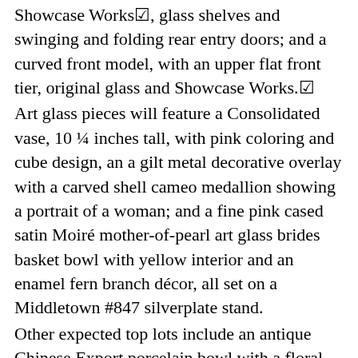Showcase Works☑, glass shelves and swinging and folding rear entry doors; and a curved front model, with an upper flat front tier, original glass and Showcase Works.☑
Art glass pieces will feature a Consolidated vase, 10 ¼ inches tall, with pink coloring and cube design, an a gilt metal decorative overlay with a carved shell cameo medallion showing a portrait of a woman; and a fine pink cased satin Moiré mother-of-pearl art glass brides basket bowl with yellow interior and an enamel fern branch décor, all set on a Middletown #847 silverplate stand.
Other expected top lots include an antique Chinese Export porcelain bowl with a floral design and showing a highly
detailed ship patterned after Vryvurg under the command of Capt. Jacob Rysik, believed to be 1756 and with documentation; and a group of three Art Nouveau stylized advertising prints for the German Thermoid